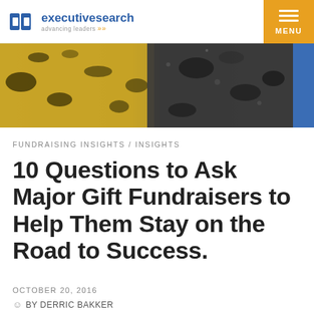db executivesearch advancing leaders
[Figure (photo): Close-up photograph of yellow and black road markings or pavement texture]
FUNDRAISING INSIGHTS / INSIGHTS
10 Questions to Ask Major Gift Fundraisers to Help Them Stay on the Road to Success.
OCTOBER 20, 2016
BY DERRIC BAKKER